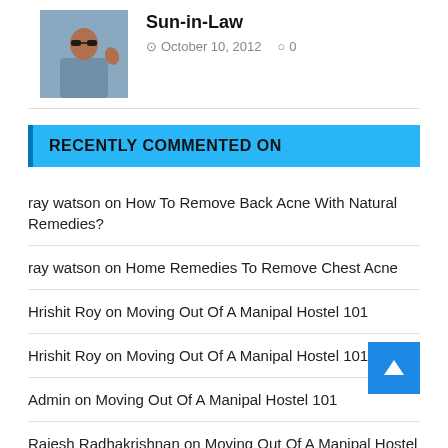[Figure (photo): Thumbnail photo of a man wearing sunglasses, waving, outdoors]
Sun-in-Law
October 10, 2012   0
RECENTLY COMMENTED ON
ray watson on How To Remove Back Acne With Natural Remedies?
ray watson on Home Remedies To Remove Chest Acne
Hrishit Roy on Moving Out Of A Manipal Hostel 101
Hrishit Roy on Moving Out Of A Manipal Hostel 101
Admin on Moving Out Of A Manipal Hostel 101
Rajesh Radhakrishnan on Moving Out Of A Manipal Hostel 101
ray watson on Coffee and Cellulite